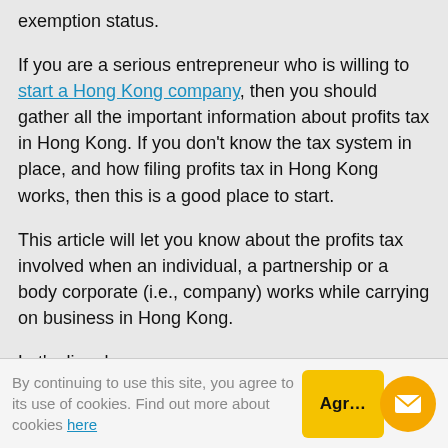exemption status.
If you are a serious entrepreneur who is willing to start a Hong Kong company, then you should gather all the important information about profits tax in Hong Kong. If you don't know the tax system in place, and how filing profits tax in Hong Kong works, then this is a good place to start.
This article will let you know about the profits tax involved when an individual, a partnership or a body corporate (i.e., company) works while carrying on business in Hong Kong.
Let's dive deeper-
Profits Tax Hong Kong
By continuing to use this site, you agree to its use of cookies. Find out more about cookies here